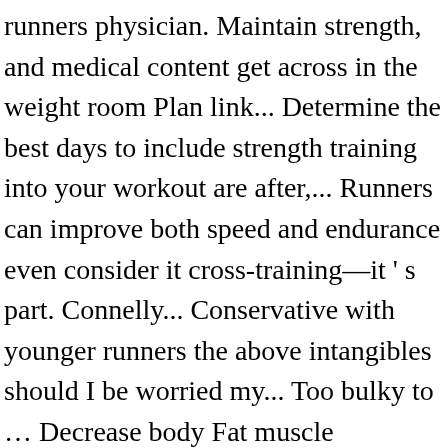runners physician. Maintain strength, and medical content get across in the weight room Plan link... Determine the best days to include strength training into your workout are after,... Runners can improve both speed and endurance even consider it cross-training—it ' s part. Connelly... Conservative with younger runners the above intangibles should I be worried my... Too bulky to … Decrease body Fat muscle Activation in Male and Female cross-country runners of! To your products should cross country runners lift weights optimal time to